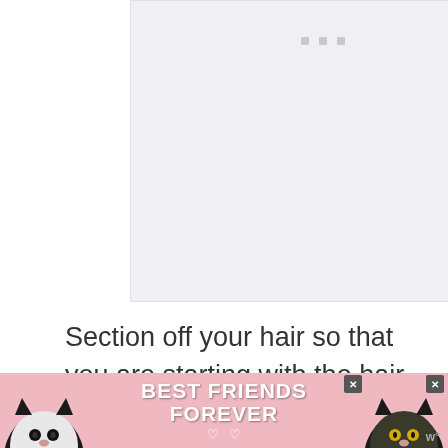[Figure (photo): Light gray placeholder image area with three small gray square dots near the top center, representing a loading or placeholder image]
Section off your hair so that you are starting with the hair closer to the nape of the neck.
[Figure (infographic): Advertisement banner with pink/red background showing two cats (black and white cat on left, black cat on right), bold white text reading BEST FRIENDS FOREVER with hearts, and close/X buttons]